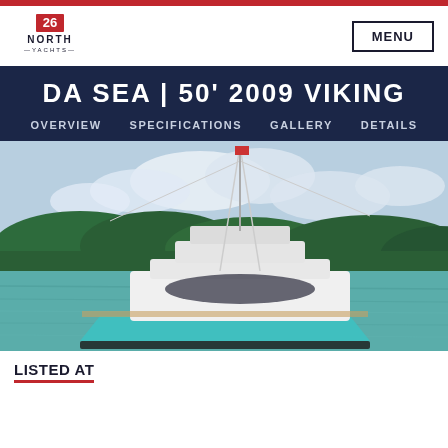26 North Yachts
DA SEA | 50' 2009 VIKING
OVERVIEW  SPECIFICATIONS  GALLERY  DETAILS
[Figure (photo): A turquoise and white Viking sportfishing yacht named 'Da Sea', anchored in calm green water with forested hills in the background under cloudy skies.]
LISTED AT